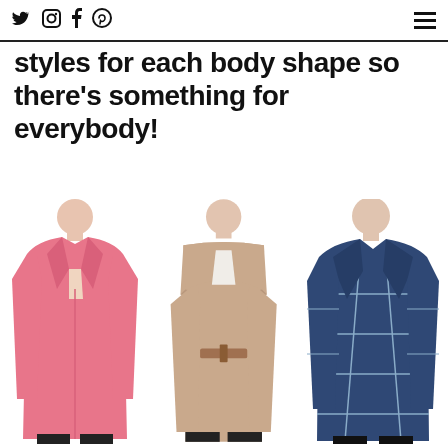social icons (Twitter, Instagram, Facebook, Pinterest) and hamburger menu
styles for each body shape so there's something for everybody!
[Figure (photo): Three women modeling winter coats: (1) a pink oversized boyfriend coat, (2) a taupe/beige belted wrap coat with cape collar, (3) a navy blue plaid/windowpane wrap coat.]